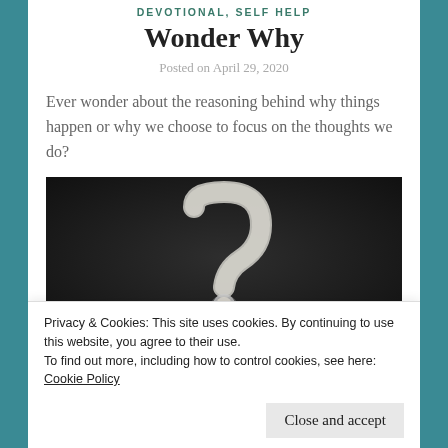DEVOTIONAL, SELF HELP
Wonder Why
Posted on April 29, 2020
Ever wonder about the reasoning behind why things happen or why we choose to focus on the thoughts we do?
[Figure (photo): Dark chalkboard background with a chalk-drawn question mark symbol]
Privacy & Cookies: This site uses cookies. By continuing to use this website, you agree to their use.
To find out more, including how to control cookies, see here:
Cookie Policy